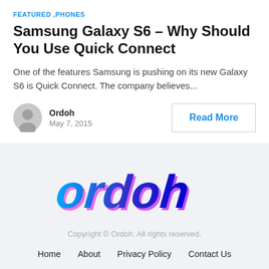FEATURED ,PHONES
Samsung Galaxy S6 – Why Should You Use Quick Connect
One of the features Samsung is pushing on its new Galaxy S6 is Quick Connect. The company believes...
Ordoh
May 7, 2015
Read More
[Figure (logo): Ordoh logo in blue and pink gradient italic bold text]
Copyright © Ordoh. All rights reserved.
Home   About   Privacy Policy   Contact Us